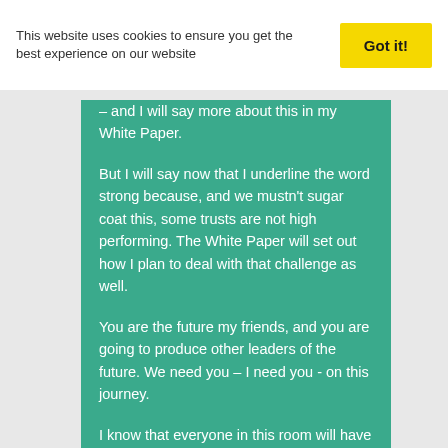This website uses cookies to ensure you get the best experience on our website
Got it!
– and I will say more about this in my White Paper.
But I will say now that I underline the word strong because, and we mustn't sugar coat this, some trusts are not high performing. The White Paper will set out how I plan to deal with that challenge as well.
You are the future my friends, and you are going to produce other leaders of the future. We need you – I need you - on this journey.
I know that everyone in this room will have an opinion on this – I'd expect nothing less, but I ask you to consider the data, the evidence, with an as open mind as possible.